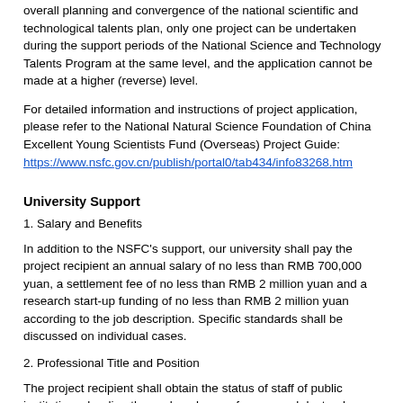overall planning and convergence of the national scientific and technological talents plan, only one project can be undertaken during the support periods of the National Science and Technology Talents Program at the same level, and the application cannot be made at a higher (reverse) level.
For detailed information and instructions of project application, please refer to the National Natural Science Foundation of China Excellent Young Scientists Fund (Overseas) Project Guide: https://www.nsfc.gov.cn/publish/portal0/tab434/info83268.htm
University Support
1. Salary and Benefits
In addition to the NSFC's support, our university shall pay the project recipient an annual salary of no less than RMB 700,000 yuan, a settlement fee of no less than RMB 2 million yuan and a research start-up funding of no less than RMB 2 million yuan according to the job description. Specific standards shall be discussed on individual cases.
2. Professional Title and Position
The project recipient shall obtain the status of staff of public institutions, be directly employed as professors and doctoral supervisors, and given priority to enroll doctoral and master's degree students.
3. Scientific Research Conditions
The University will provide excellent scientific research